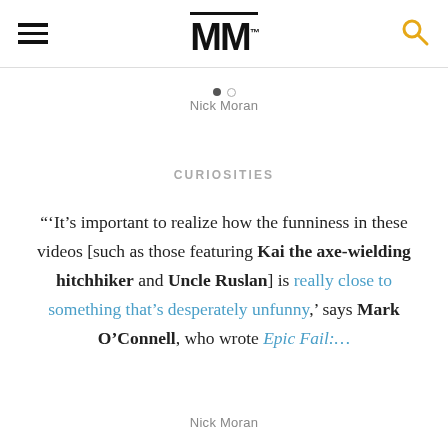[Figure (logo): MM logo with TM mark and hamburger menu icon and search icon in page header]
Nick Moran
CURIOSITIES
"'It's important to realize how the funniness in these videos [such as those featuring Kai the axe-wielding hitchhiker and Uncle Ruslan] is really close to something that's desperately unfunny,' says Mark O'Connell, who wrote Epic Fail:…
Nick Moran